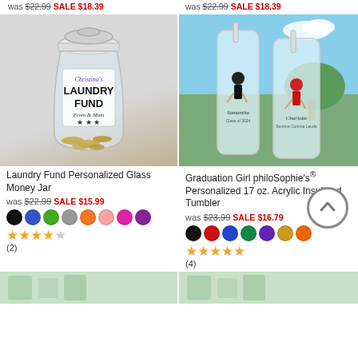was $22.99 SALE $18.39 (left top)
was $22.99 SALE $18.39 (right top)
[Figure (photo): Glass jar labeled Christina's Laundry Fund with coins inside, on a marble countertop]
[Figure (photo): Two personalized acrylic insulated tumblers labeled Samantha and Charlotte with graduation girl designs, outdoors]
Laundry Fund Personalized Glass Money Jar
was $22.99 SALE $15.99
Graduation Girl philoSophie's® Personalized 17 oz. Acrylic Insulated Tumbler
was $23.99 SALE $16.79
[Figure (other): Color swatches: black, blue, green, gray, orange, pink, magenta, purple]
[Figure (other): Color swatches: black, red, blue, green, purple, gold, orange]
★★★★☆ (2)
★★★★★ (4)
[Figure (photo): Partial bottom product image left]
[Figure (photo): Partial bottom product image right]